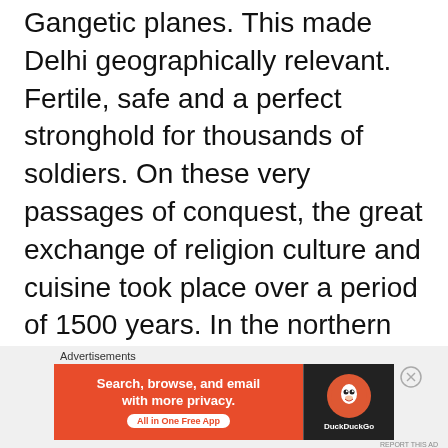Gangetic planes. This made Delhi geographically relevant. Fertile, safe and a perfect stronghold for thousands of soldiers. On these very passages of conquest, the great exchange of religion culture and cuisine took place over a period of 1500 years. In the northern region, we have more varieties of grains and beyond central India, we consume more rice due to the hot and humid climate.
[Figure (other): DuckDuckGo advertisement banner: orange background with text 'Search, browse, and email with more privacy. All in One Free App' and DuckDuckGo logo on dark background]